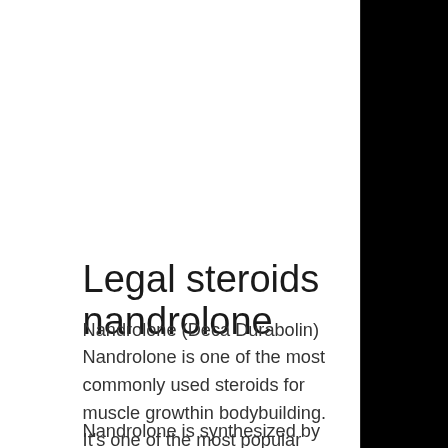Legal steroids nandrolone
Nandrolone (Deca Durabolin) Nandrolone is one of the most commonly used steroids for muscle growthin bodybuilding. It's one of the most popular steroids in the world due its good effects for bodybuilders on both men and women.
Nandrolone is synthesized by the human liver and the hormones Nandrolone Decanoate and Nandrolone Decanoate